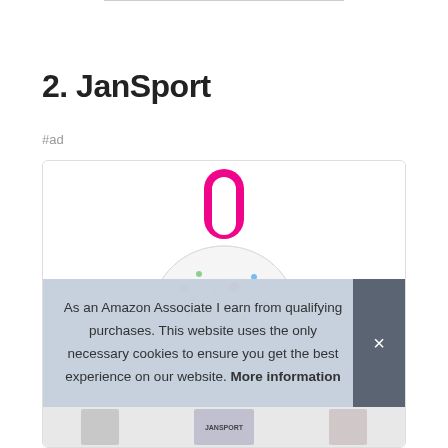2. JanSport
#ad
[Figure (photo): JanSport backpack product photo showing top handle in pink/magenta color, white body with colorful print pattern, viewed from above/back angle]
As an Amazon Associate I earn from qualifying purchases. This website uses the only necessary cookies to ensure you get the best experience on our website. More information